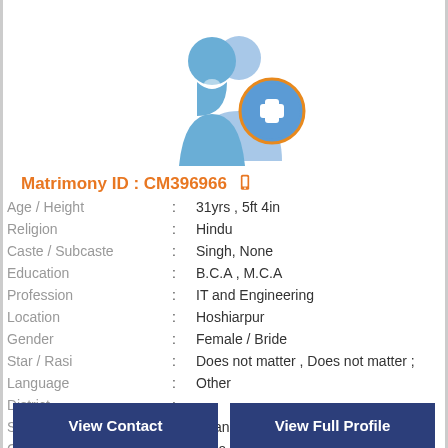[Figure (illustration): Blue silhouette icon of two people (a woman and a man) with an orange/blue circular plus (+) button overlay, representing an add profile image placeholder.]
Matrimony ID : CM396966
| Age / Height | : | 31yrs , 5ft 4in |
| Religion | : | Hindu |
| Caste / Subcaste | : | Singh, None |
| Education | : | B.C.A , M.C.A |
| Profession | : | IT and Engineering |
| Location | : | Hoshiarpur |
| Gender | : | Female / Bride |
| Star / Rasi | : | Does not matter , Does not matter ; |
| Language | : | Other |
| District | : |  |
| State | : | Chandigarh |
| Country | : | India |
View Contact
View Full Profile